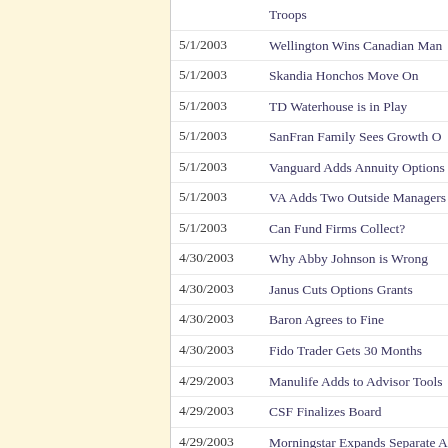Troops
5/1/2003 | Wellington Wins Canadian Man
5/1/2003 | Skandia Honchos Move On
5/1/2003 | TD Waterhouse is in Play
5/1/2003 | SanFran Family Sees Growth O
5/1/2003 | Vanguard Adds Annuity Options
5/1/2003 | VA Adds Two Outside Managers
5/1/2003 | Can Fund Firms Collect?
4/30/2003 | Why Abby Johnson is Wrong
4/30/2003 | Janus Cuts Options Grants
4/30/2003 | Baron Agrees to Fine
4/30/2003 | Fido Trader Gets 30 Months
4/29/2003 | Manulife Adds to Advisor Tools
4/29/2003 | CSF Finalizes Board
4/29/2003 | Morningstar Expands Separate Account Distribution
4/29/2003 | Another ETF Effort Launches T